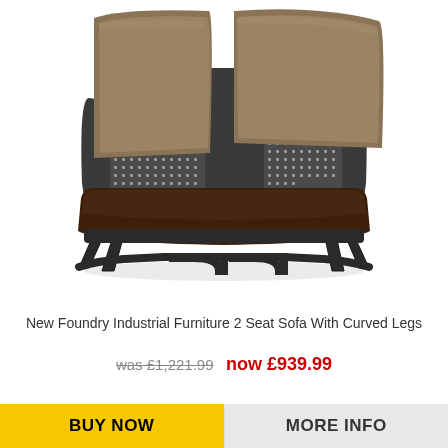[Figure (photo): New Foundry Industrial Furniture 2 Seat Sofa With Curved Legs — a modern two-seater sofa with dark metal mesh back panels, brown cushioned seat and back pillows, and curved dark metal legs, on a white background.]
New Foundry Industrial Furniture 2 Seat Sofa With Curved Legs
was £1,221.99  now £939.99
BUY NOW
MORE INFO